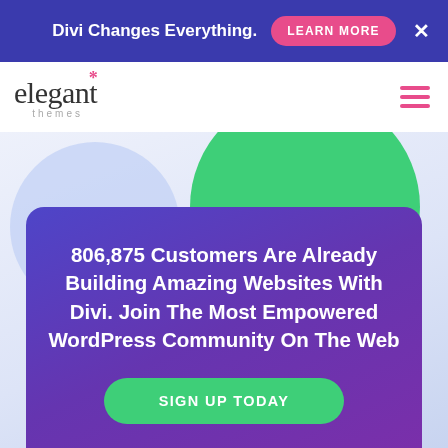Divi Changes Everything. LEARN MORE ✕
[Figure (logo): Elegant Themes logo with asterisk and 'themes' subtitle]
806,875 Customers Are Already Building Amazing Websites With Divi. Join The Most Empowered WordPress Community On The Web
SIGN UP TODAY
We offer a 30 Day Money Back Guarantee, so joining is Risk-Free!